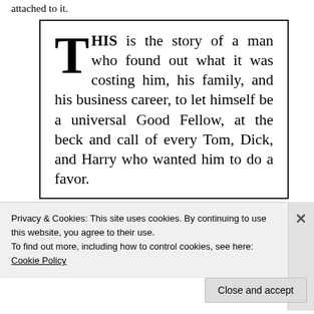attached to it.
[Figure (illustration): A framed book excerpt with drop-cap 'T' reading: THIS is the story of a man who found out what it was costing him, his family, and his business career, to let himself be a universal Good Fellow, at the beck and call of every Tom, Dick, and Harry who wanted him to do a favor.]
Privacy & Cookies: This site uses cookies. By continuing to use this website, you agree to their use.
To find out more, including how to control cookies, see here: Cookie Policy
Close and accept